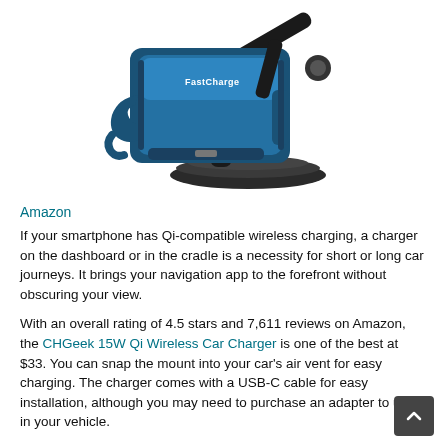[Figure (photo): A blue and black CHGeek wireless car charger mount with suction cup base, showing the phone cradle mechanism with FastCharge label visible]
Amazon
If your smartphone has Qi-compatible wireless charging, a charger on the dashboard or in the cradle is a necessity for short or long car journeys. It brings your navigation app to the forefront without obscuring your view.
With an overall rating of 4.5 stars and 7,611 reviews on Amazon, the CHGeek 15W Qi Wireless Car Charger is one of the best at $33. You can snap the mount into your car's air vent for easy charging. The charger comes with a USB-C cable for easy installation, although you may need to purchase an adapter to use it in your vehicle.